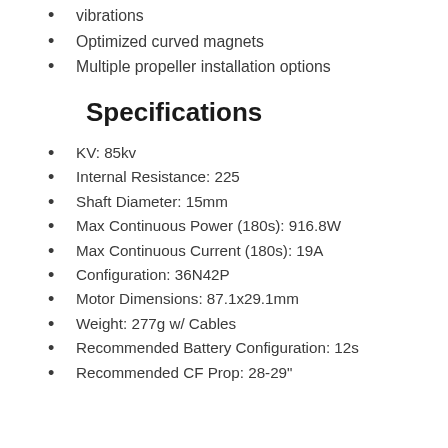vibrations
Optimized curved magnets
Multiple propeller installation options
Specifications
KV: 85kv
Internal Resistance: 225
Shaft Diameter: 15mm
Max Continuous Power (180s): 916.8W
Max Continuous Current (180s): 19A
Configuration: 36N42P
Motor Dimensions: 87.1x29.1mm
Weight: 277g w/ Cables
Recommended Battery Configuration: 12s
Recommended CF Prop: 28-29"